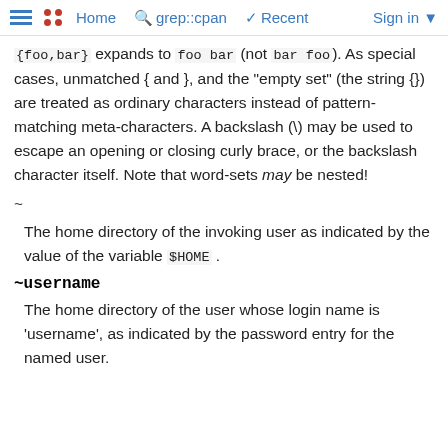Home  grep::cpan  Recent  Sign in
{foo,bar} expands to foo bar (not bar foo). As special cases, unmatched { and }, and the "empty set" (the string {}) are treated as ordinary characters instead of pattern-matching meta-characters. A backslash (\) may be used to escape an opening or closing curly brace, or the backslash character itself. Note that word-sets may be nested!
~
The home directory of the invoking user as indicated by the value of the variable $HOME .
~username
The home directory of the user whose login name is 'username', as indicated by the password entry for the named user.